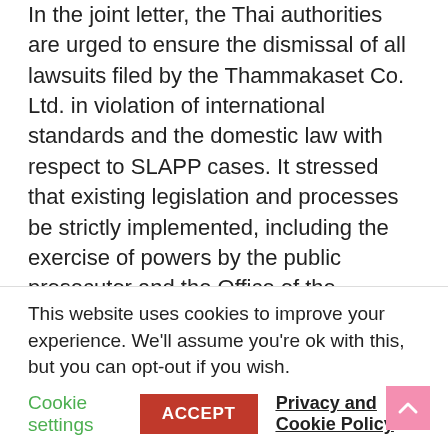In the joint letter, the Thai authorities are urged to ensure the dismissal of all lawsuits filed by the Thammakaset Co. Ltd. in violation of international standards and the domestic law with respect to SLAPP cases. It stressed that existing legislation and processes be strictly implemented, including the exercise of powers by the public prosecutor and the Office of the attorney general to screen out unwarranted complaints under Section 21 of the Public Prosecution Organ and the Public Prosecutors Act of 2010.
The coalition signing onto the letter also calls for the revision of domestic civil and criminal laws as well as
This website uses cookies to improve your experience. We'll assume you're ok with this, but you can opt-out if you wish.
Cookie settings   ACCEPT   Privacy and Cookie Policy